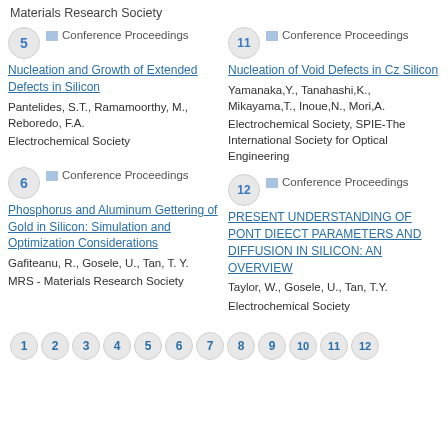Materials Research Society
5  Conference Proceedings
Nucleation and Growth of Extended Defects in Silicon
Pantelides, S.T., Ramamoorthy, M., Reboredo, F.A.
Electrochemical Society
11  Conference Proceedings
Nucleation of Void Defects in Cz Silicon
Yamanaka,Y., Tanahashi,K., Mikayama,T., Inoue,N., Mori,A.
Electrochemical Society, SPIE-The International Society for Optical Engineering
6  Conference Proceedings
Phosphorus and Aluminum Gettering of Gold in Silicon: Simulation and Optimization Considerations
Gafiteanu, R., Gosele, U., Tan, T.Y.
MRS - Materials Research Society
12  Conference Proceedings
PRESENT UNDERSTANDING OF PONT DIEECT PARAMETERS AND DIFFUSION IN SILICON: AN OVERVIEW
Taylor, W., Gosele, U., Tan, T.Y.
Electrochemical Society
1 2 3 4 5 6 7 8 9 10 11 12